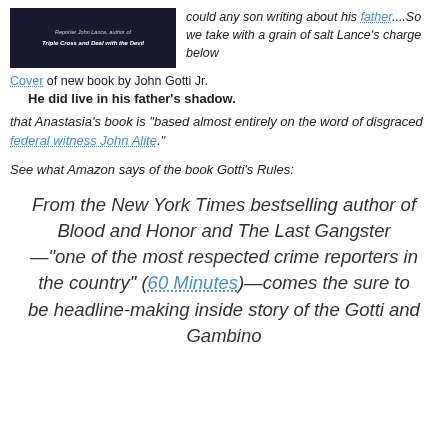[Figure (photo): Book cover image with dark background, showing text about John Gotti Jr., Triple Cross and Deal with the Devil]
could any son writing about his father....So we take with a grain of salt Lance's charge below
Cover of new book by John Gotti Jr. He did live in his father's shadow.
that Anastasia's book is "based almost entirely on the word of disgraced federal witness John Alite."
See what Amazon says of the book Gotti's Rules:
From the New York Times bestselling author of Blood and Honor and The Last Gangster —"one of the most respected crime reporters in the country" (60 Minutes)—comes the sure to be headline-making inside story of the Gotti and Gambino